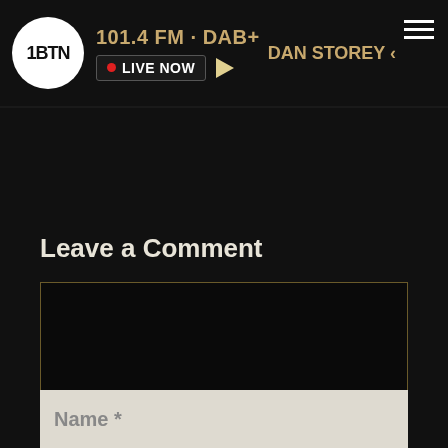1BTN · 101.4 FM · DAB+ · LIVE NOW · DAN STOREY
Leave a Comment
[Figure (screenshot): Comment text area input box, empty, with dark background and gold border, with a scroll-to-top button (caret up) in the bottom right corner]
Name *